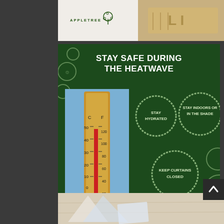[Figure (logo): Appletree logo with tree icon in top left section]
[Figure (photo): Close-up photo of a measuring tape/ruler on white background in top right section]
[Figure (infographic): Dark green infographic titled 'STAY SAFE DURING THE HEATWAVE' with a thermometer photo and circular tip bubbles: STAY HYDRATED, STAY INDOORS OR IN THE SHADE, KEEP CURTAINS CLOSED]
[Figure (photo): Partial photo at bottom showing paper/documents on a wooden surface]